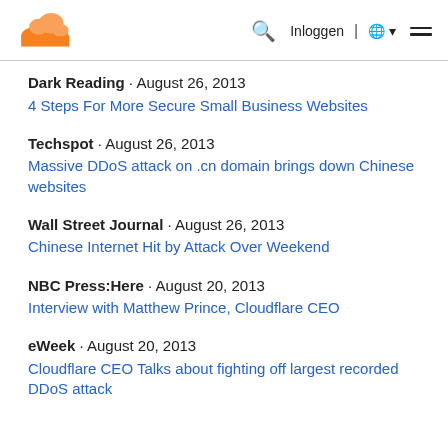Cloudflare logo | Inloggen | Globe | Menu
Dark Reading · August 26, 2013
4 Steps For More Secure Small Business Websites
Techspot · August 26, 2013
Massive DDoS attack on .cn domain brings down Chinese websites
Wall Street Journal · August 26, 2013
Chinese Internet Hit by Attack Over Weekend
NBC Press:Here · August 20, 2013
Interview with Matthew Prince, Cloudflare CEO
eWeek · August 20, 2013
Cloudflare CEO Talks about fighting off largest recorded DDoS attack